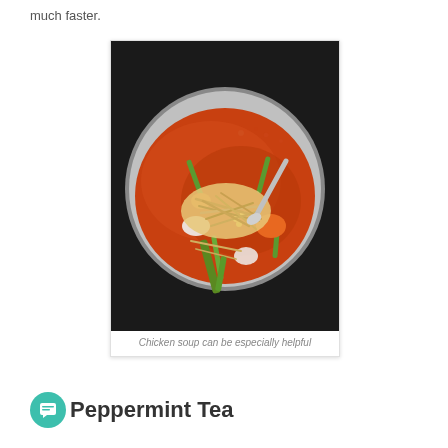much faster.
[Figure (photo): A silver pot of chicken soup with tomato-based broth, shredded chicken, carrots, celery, green beans, corn, and onion. A spoon is visible in the bowl.]
Chicken soup can be especially helpful
Peppermint Tea